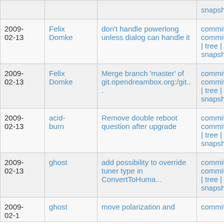| Date | Author | Commit message | Links |
| --- | --- | --- | --- |
|  |  |  | snapshot |
| 2009-02-13 | Felix Domke | don't handle powerlong unless dialog can handle it | commit | commitdiff | tree | snapshot |
| 2009-02-13 | Felix Domke | Merge branch 'master' of git.opendreambox.org:/git... | commit | commitdiff | tree | snapshot |
| 2009-02-13 | acid-burn | Remove double reboot question after upgrade | commit | commitdiff | tree | snapshot |
| 2009-02-13 | ghost | add possibility to override tuner type in ConvertToHuma... | commit | commitdiff | tree | snapshot |
| 2009-02-13 | ghost | move polarization and ... | commit | ... |